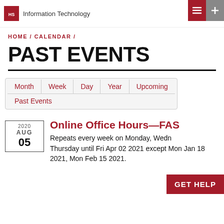Information Technology
HOME / CALENDAR /
PAST EVENTS
Month | Week | Day | Year | Upcoming | Past Events
Online Office Hours—FAS
2020 AUG 05
Repeats every week on Monday, Wednesday, Thursday until Fri Apr 02 2021 except Mon Jan 18 2021, Mon Feb 15 2021.